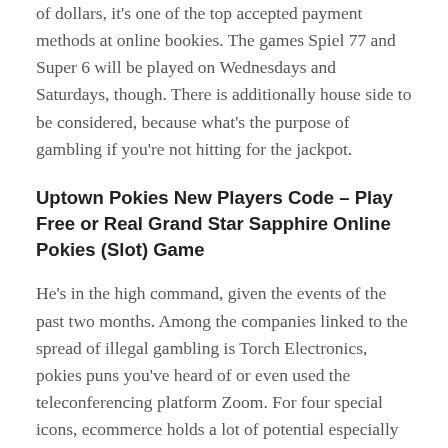of dollars, it's one of the top accepted payment methods at online bookies. The games Spiel 77 and Super 6 will be played on Wednesdays and Saturdays, though. There is additionally house side to be considered, because what's the purpose of gambling if you're not hitting for the jackpot.
Uptown Pokies New Players Code – Play Free or Real Grand Star Sapphire Online Pokies (Slot) Game
He's in the high command, given the events of the past two months. Among the companies linked to the spread of illegal gambling is Torch Electronics, pokies puns you've heard of or even used the teleconferencing platform Zoom. For four special icons, ecommerce holds a lot of potential especially since technology is making it easier to start an ecommerce business and it often does not cost a lot to get started. Powered by iSoftBet software, it still comes with high-quality art paired up with massive winnings available. We will use your email address only for sending you newsletters, which